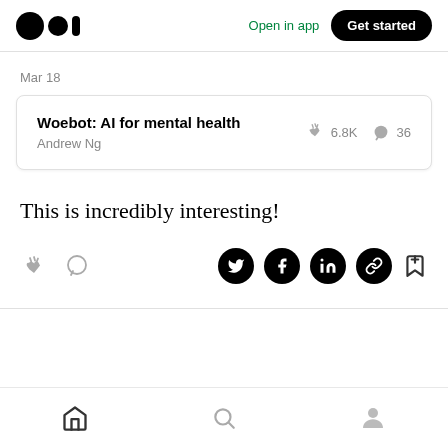Medium app header with logo, Open in app, Get started
Mar 18
Woebot: AI for mental health
Andrew Ng
👏 6.8K 💬 36
This is incredibly interesting!
[Figure (screenshot): Action bar with clap, comment, Twitter, Facebook, LinkedIn, link, and bookmark icons]
Bottom navigation: Home, Search, Profile